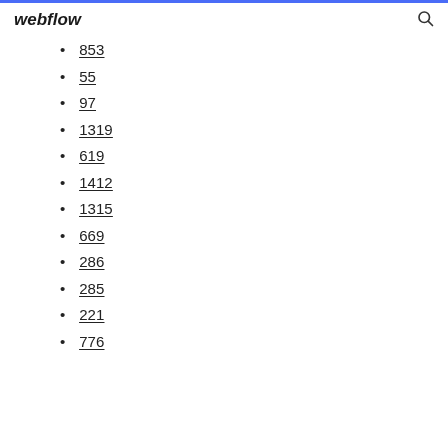webflow
853
55
97
1319
619
1412
1315
669
286
285
221
776